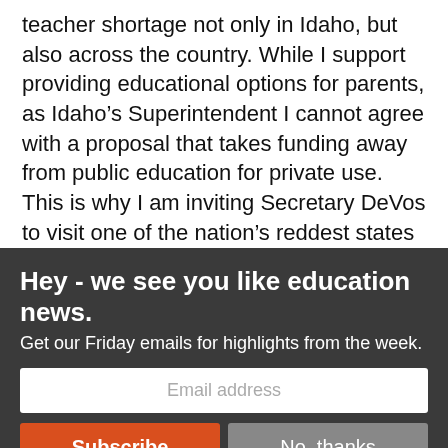teacher shortage not only in Idaho, but also across the country. While I support providing educational options for parents, as Idaho's Superintendent I cannot agree with a proposal that takes funding away from public education for private use. This is why I am inviting Secretary DeVos to visit one of the nation's reddest states to see how rural Idaho could be affected by federal policies and initiatives. I encourage Idaho's education stakeholders to contact our congressional
Hey - we see you like education news.
Get our Friday emails for highlights from the week.